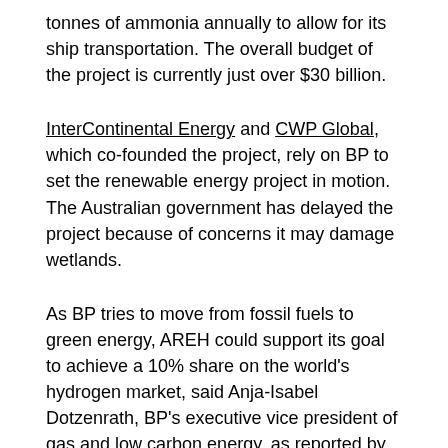tonnes of ammonia annually to allow for its ship transportation. The overall budget of the project is currently just over $30 billion.
InterContinental Energy and CWP Global, which co-founded the project, rely on BP to set the renewable energy project in motion. The Australian government has delayed the project because of concerns it may damage wetlands.
As BP tries to move from fossil fuels to green energy, AREH could support its goal to achieve a 10% share on the world's hydrogen market, said Anja-Isabel Dotzenrath, BP's executive vice president of gas and low carbon energy, as reported by Reuters. BP's expectations are for hydrogen to take up 10%-15% of global energy by 2050 and is considering a few other large-scale hydrogen and ammonia export centers